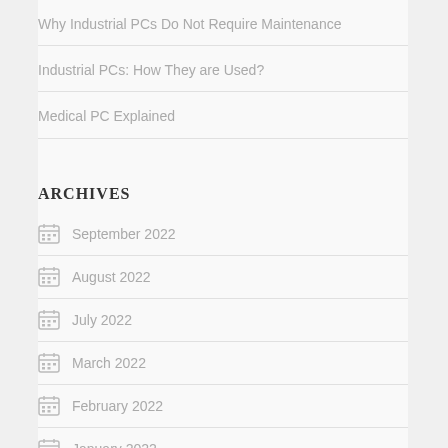Why Industrial PCs Do Not Require Maintenance
Industrial PCs: How They are Used?
Medical PC Explained
ARCHIVES
September 2022
August 2022
July 2022
March 2022
February 2022
January 2022
December 2021